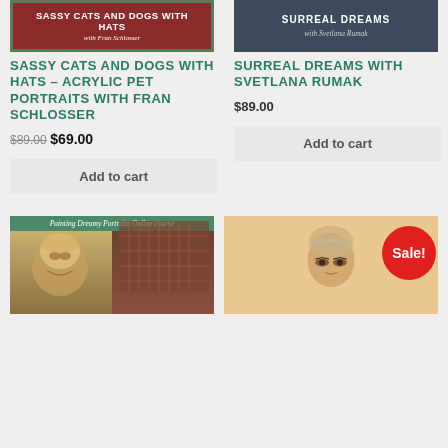[Figure (illustration): Course banner for Sassy Cats and Dogs with Hats – dark red/maroon background with teal border, white bold text reading 'SASSY CATS AND DOGS WITH HATS' and italic script 'with Fran Schlosser']
[Figure (illustration): Course banner for Surreal Dreams – dark blue-gray background, white text 'SURREAL DREAMS' and italic 'with Svetlana Rumak']
SASSY CATS AND DOGS WITH HATS – ACRYLIC PET PORTRAITS WITH FRAN SCHLOSSER
$89.00 $69.00
Add to cart
SURREAL DREAMS WITH SVETLANA RUMAK
$89.00
Add to cart
[Figure (illustration): Painting Dreamy Portraits Online course thumbnail – teal banner with italic script title, below showing two art images: a dreamy female portrait on left and craft/grid materials on right]
[Figure (illustration): Portrait illustration of older woman with glasses on tan/beige background, with red circular Sale! badge overlaid in top right]